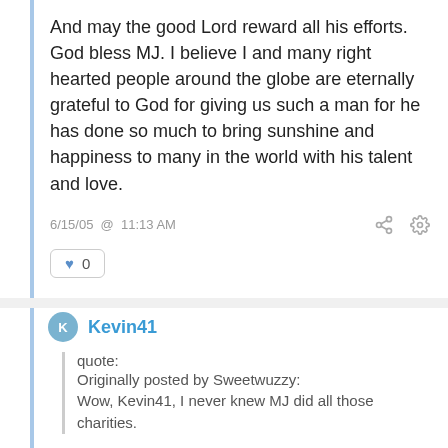And may the good Lord reward all his efforts. God bless MJ. I believe I and many right hearted people around the globe are eternally grateful to God for giving us such a man for he has done so much to bring sunshine and happiness to many in the world with his talent and love.
6/15/05 @ 11:13 AM
0
Kevin41
quote:
Originally posted by Sweetwuzzy:
Wow, Kevin41, I never knew MJ did all those charities.